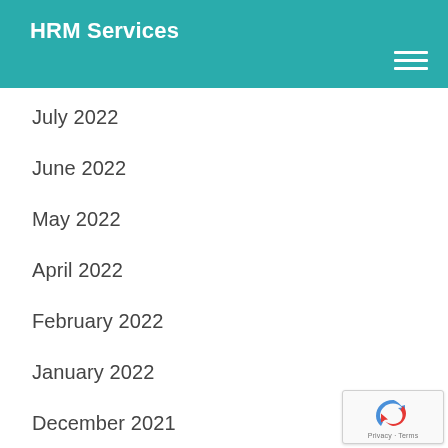HRM Services
July 2022
June 2022
May 2022
April 2022
February 2022
January 2022
December 2021
November 2021